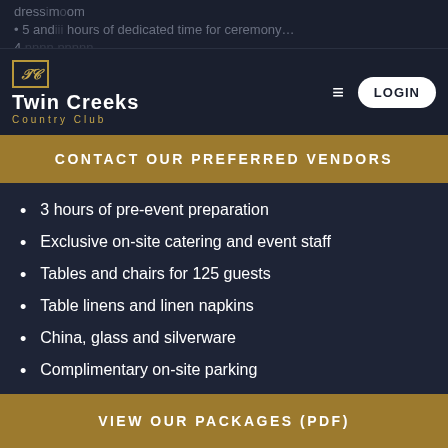dress room   5 and hours of dedicated time for ceremony   4 nnnn nnnn
[Figure (logo): Twin Creeks Country Club logo with TC monogram in gold border, white text, LOGIN button and hamburger menu on dark navy background]
CONTACT OUR PREFERRED VENDORS
3 hours of pre-event preparation
Exclusive on-site catering and event staff
Tables and chairs for 125 guests
Table linens and linen napkins
China, glass and silverware
Complimentary on-site parking
VIEW OUR PACKAGES (PDF)